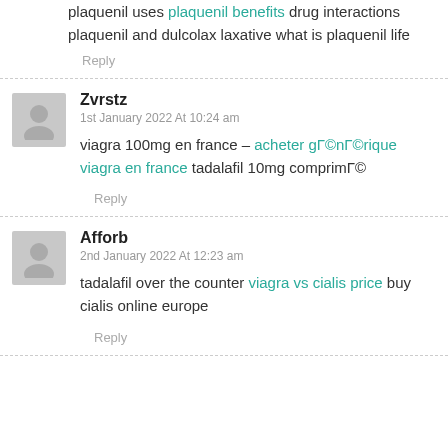plaquenil uses plaquenil benefits drug interactions plaquenil and dulcolax laxative what is plaquenil life
Reply
Zvrstz
1st January 2022 At 10:24 am
viagra 100mg en france – acheter générique viagra en france tadalafil 10mg comprimé
Reply
Afforb
2nd January 2022 At 12:23 am
tadalafil over the counter viagra vs cialis price buy cialis online europe
Reply